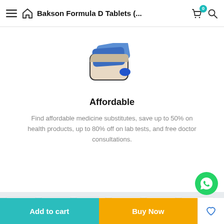Bakson Formula D Tablets (...
[Figure (illustration): Wallet icon illustration with blue cards and a blue oval detail on a beige wallet body]
Affordable
Find affordable medicine substitutes, save up to 50% on health products, up to 80% off on lab tests, and free doctor consultations.
[Figure (logo): Payment method logos: VISA, Mastercard, PayPal, Skrill, Maestro, VISA Electron]
Copyright © 2022 The Natural Herbs. All Rights Reserved.